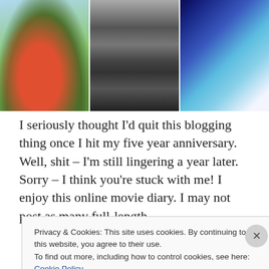[Figure (photo): Three images in a row: left - anime girl in red coat holding a broom outdoors; center - dark X-ray or mirrored black and white photograph; right - anime character with blue skin and long blonde hair]
I seriously thought I'd quit this blogging thing once I hit my five year anniversary. Well, shit – I'm still lingering a year later. Sorry – I think you're stuck with me! I enjoy this online movie diary. I may not post as many full-length
Privacy & Cookies: This site uses cookies. By continuing to use this website, you agree to their use.
To find out more, including how to control cookies, see here: Cookie Policy
Close and accept